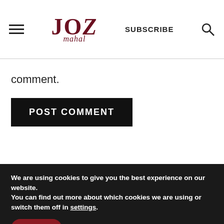JOZ mahal — SUBSCRIBE
comment.
POST COMMENT
We are using cookies to give you the best experience on our website.
You can find out more about which cookies we are using or switch them off in settings.
Accept